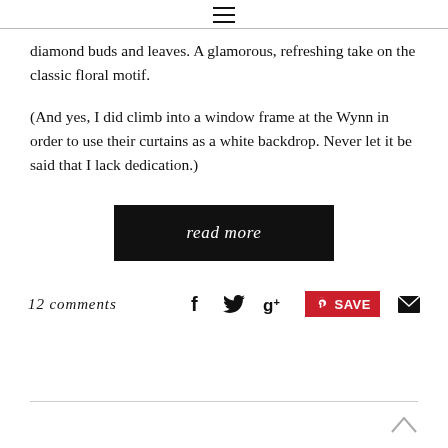≡
diamond buds and leaves. A glamorous, refreshing take on the classic floral motif.
(And yes, I did climb into a window frame at the Wynn in order to use their curtains as a white backdrop. Never let it be said that I lack dedication.)
[Figure (other): Black button/link labeled 'read more' in italic serif white text on black background]
12 comments
[Figure (other): Social share icons row: Facebook f, Twitter bird, Google+, Pinterest SAVE button (red), Email envelope]